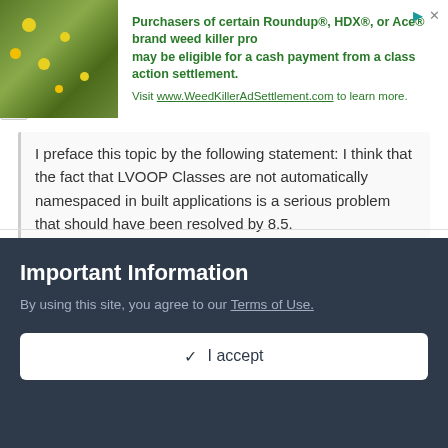[Figure (infographic): Advertisement banner with plant/flower photo on the left and green text about Roundup, HDX, Ace brand weed killer class action settlement on the right]
I preface this topic by the following statement: I think that the fact that LVOOP Classes are not automatically namespaced in built applications is a serious problem that should have been resolved by 8.5.
Probably would've been except that this is the first time I've ever heard it mentioned as an issue. :-) As it is, it is too late to make 8.5.1, and is probably too late to make the next LV release. But we'll see if it can squeeze in. No promises.
Important Information
By using this site, you agree to our Terms of Use.
✓  I accept